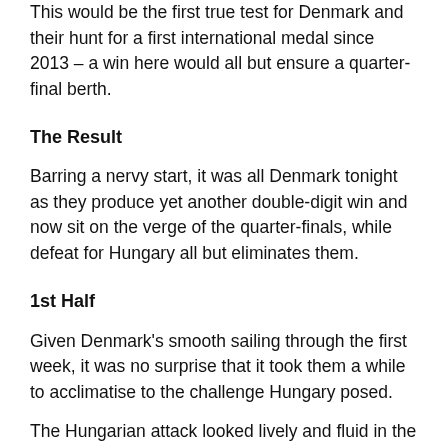This would be the first true test for Denmark and their hunt for a first international medal since 2013 – a win here would all but ensure a quarter-final berth.
The Result
Barring a nervy start, it was all Denmark tonight as they produce yet another double-digit win and now sit on the verge of the quarter-finals, while defeat for Hungary all but eliminates them.
1st Half
Given Denmark's smooth sailing through the first week, it was no surprise that it took them a while to acclimatise to the challenge Hungary posed.
The Hungarian attack looked lively and fluid in the opening stages, tearing through the Danish defence with relative ease, while their heavy-handed defence left Denmark a bit disjointed and